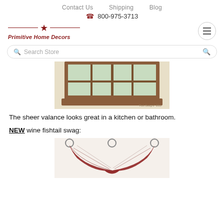Contact Us   Shipping   Blog
☎ 800-975-3713
[Figure (logo): Primitive Home Decors logo with star and horizontal lines]
Search Store
[Figure (photo): A wooden window frame with a sheer valance, viewed from inside]
The sheer valance looks great in a kitchen or bathroom.
NEW wine fishtail swag:
[Figure (photo): A wine-colored fishtail swag curtain with plaid fabric hanging on decorative rods]